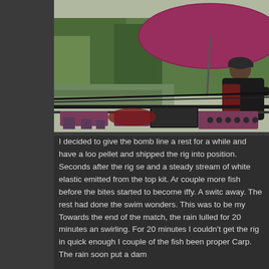[Figure (photo): A person fishing at a pond or lake in rainy conditions, sitting under a large dark pink/maroon umbrella. Fishing pole rigs and equipment are visible in the foreground. Green reeds and water visible in background.]
I decided to give the bomb line a rest for a while and have a look on the pellet and shipped the rig into position. Seconds after the rig settled and a steady stream of white elastic emitted from the top kit. Ar couple more fish before the bites started to become iffy. A switc away. The rest had done the swim wonders. This was to be my Towards the end of the match, the rain lulled for 20 minutes an swirling. For 20 minutes I couldn't get the rig in quick enough I couple of the fish been proper Carp. The rain soon put a dam